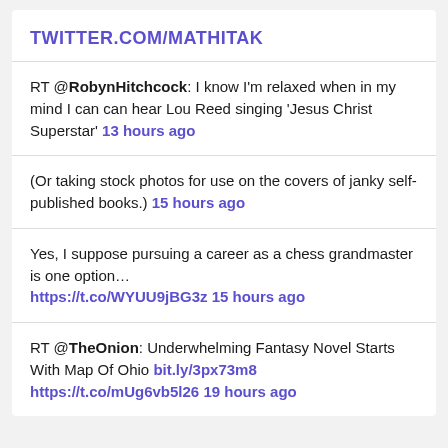TWITTER.COM/MATHITAK
RT @RobynHitchcock: I know I'm relaxed when in my mind I can can hear Lou Reed singing 'Jesus Christ Superstar' 13 hours ago
(Or taking stock photos for use on the covers of janky self-published books.) 15 hours ago
Yes, I suppose pursuing a career as a chess grandmaster is one option… https://t.co/WYUU9jBG3z 15 hours ago
RT @TheOnion: Underwhelming Fantasy Novel Starts With Map Of Ohio bit.ly/3px73m8 https://t.co/mUg6vb5l26 19 hours ago